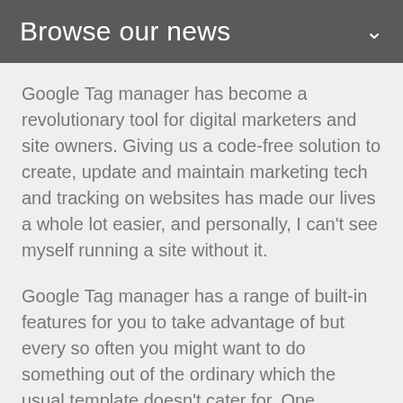Browse our news
Google Tag manager has become a revolutionary tool for digital marketers and site owners. Giving us a code-free solution to create, update and maintain marketing tech and tracking on websites has made our lives a whole lot easier, and personally, I can't see myself running a site without it.
Google Tag manager has a range of built-in features for you to take advantage of but every so often you might want to do something out of the ordinary which the usual template doesn't cater for. One question I get pretty often is how to fire your tags to some specific pages without creating multiple triggers.
Since I've been getting this question a lot and thought it best to put together an easy to use tag manager tutorial.